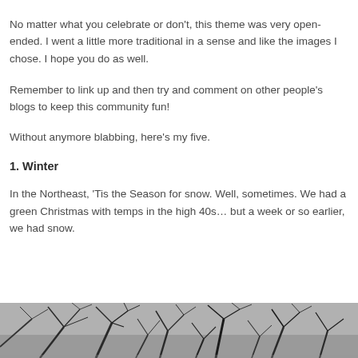No matter what you celebrate or don't, this theme was very open-ended. I went a little more traditional in a sense and like the images I chose. I hope you do as well.
Remember to link up and then try and comment on other people's blogs to keep this community fun!
Without anymore blabbing, here's my five.
1. Winter
In the Northeast, 'Tis the Season for snow. Well, sometimes. We had a green Christmas with temps in the high 40s… but a week or so earlier, we had snow.
[Figure (photo): Black and white photograph of bare winter trees with snow-covered branches, viewed from below looking up through the canopy]